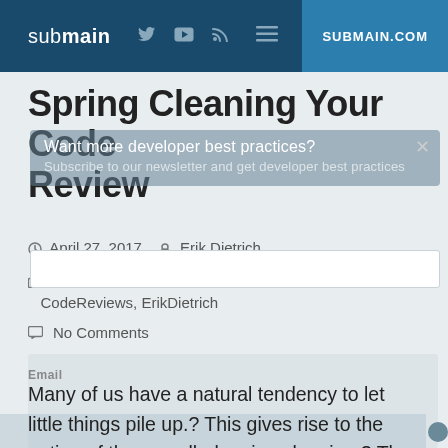submain | SUBMAIN.COM
Spring Cleaning Your Code Review
April 27, 2017   Erik Dietrich
Articles, CodeAnalysis, CodeIt.Right, CodeReviews, ErikDietrich
No Comments
Many of us have a natural tendency to let little things pile up.? This gives rise to the notion of the so-called spring cleaning.? The weather turns warm and going outside becomes reasonable, so we take